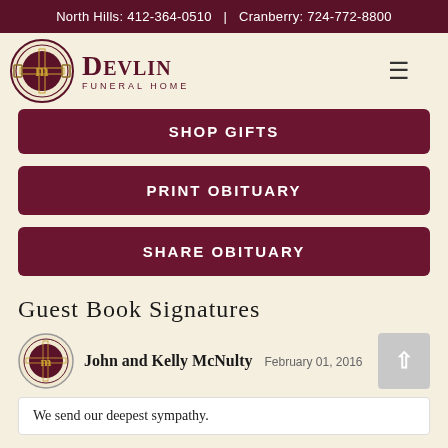North Hills: 412-364-0510  |  Cranberry: 724-772-8800
[Figure (logo): Devlin Funeral Home logo with circular emblem and text]
SHOP GIFTS
PRINT OBITUARY
SHARE OBITUARY
Guest Book Signatures
John and Kelly McNulty   February 01, 2016
We send our deepest sympathy.